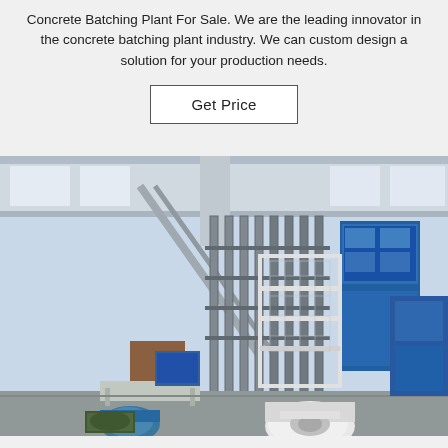Concrete Batching Plant For Sale. We are the leading innovator in the concrete batching plant industry. We can custom design a solution for your production needs.
Get Price
[Figure (photo): Interior of a factory or manufacturing facility showing industrial concrete batching plant equipment: metal frame structures, vertical rod arrays, conveyor systems, blue machinery panels, and a motor/pump in the foreground.]